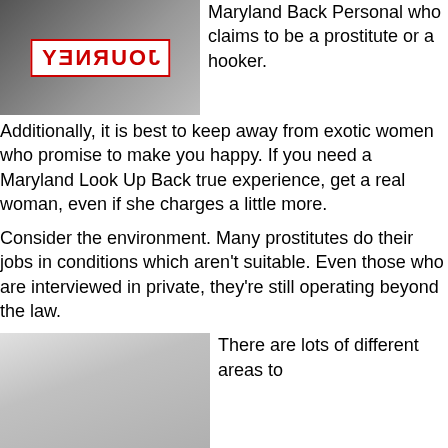[Figure (photo): A person holding a sign that reads JOURNEY (mirrored/reversed text) in red letters on white background]
Maryland Back Personal who claims to be a prostitute or a hooker.
Additionally, it is best to keep away from exotic women who promise to make you happy. If you need a Maryland Look Up Back true experience, get a real woman, even if she charges a little more.
Consider the environment. Many prostitutes do their jobs in conditions which aren't suitable. Even those who are interviewed in private, they're still operating beyond the law.
[Figure (photo): A close-up photo of what appears to be a white bowl or toilet]
There are lots of different areas to